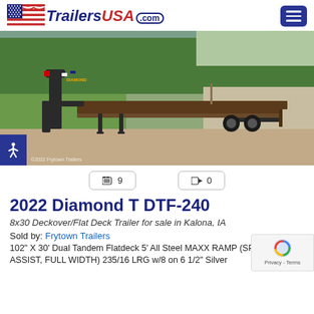TrailersUSA.com
[Figure (photo): Black 2022 Diamond T DTF-240 gooseneck flatdeck trailer parked on a gravel surface with trees and a driveway in the background. Photo credit: ©2022 Frytown Trailers.]
📷 9
🎥 0
2022 Diamond T DTF-240
8x30 Deckover/Flat Deck Trailer for sale in Kalona, IA
Sold by: Frytown Trailers
102" X 30' Dual Tandem Flatdeck 5' All Steel MAXX RAMP (SPRING ASSIST, FULL WIDTH) 235/16 LRG w/8 on 6 1/2" Silver